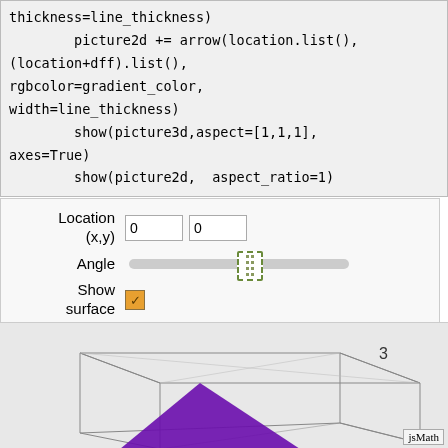thickness=line_thickness)
        picture2d += arrow(location.list(),
(location+dff).list(),
rgbcolor=gradient_color,
width=line_thickness)
        show(picture3d,aspect=[1,1,1],
axes=True)
        show(picture2d,  aspect_ratio=1)
[Figure (screenshot): Interactive controls panel showing Location (x,y) input fields with value 0, Angle slider with thumb at mid position, and Show surface checkbox (checked/orange)]
[Figure (engineering-diagram): Partial 3D plot showing a white wireframe box outline and a purple triangle shape on a gray background, with axis label 3 visible]